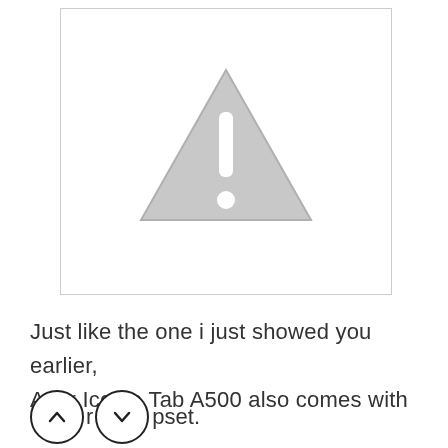[Figure (illustration): A gray warning/caution triangle icon with an exclamation mark inside, displayed on a white background within a bordered box.]
Just like the one i just showed you earlier, Acer Iconia Tab A500 also comes with [nav buttons] reset.